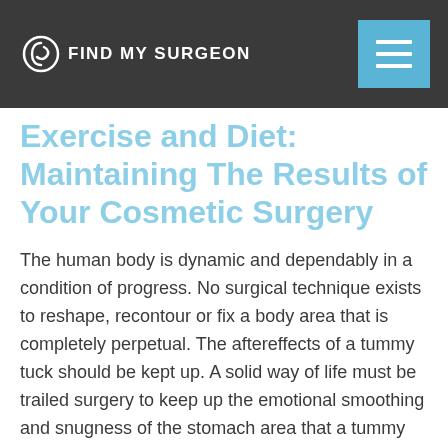FIND MY SURGEON
Exercise and Diet: Maintaining The Results of Your Cosmetic Surgery
The human body is dynamic and dependably in a condition of progress. No surgical technique exists to reshape, recontour or fix a body area that is completely perpetual. The aftereffects of a tummy tuck should be kept up. A solid way of life must be trailed surgery to keep up the emotional smoothing and snugness of the stomach area that a tummy tuck gives. Poor count calories and inactive way of life will, over the long haul cause weight pick up and skin